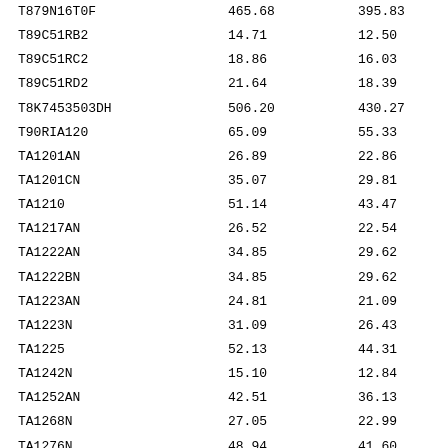| T879N16T0F | 465.68 | 395.83 |
| T89C51RB2 | 14.71 | 12.50 |
| T89C51RC2 | 18.86 | 16.03 |
| T89C51RD2 | 21.64 | 18.39 |
| T8K7453503DH | 506.20 | 430.27 |
| T90RIA120 | 65.09 | 55.33 |
| TA1201AN | 26.89 | 22.86 |
| TA1201CN | 35.07 | 29.81 |
| TA1210 | 51.14 | 43.47 |
| TA1217AN | 26.52 | 22.54 |
| TA1222AN | 34.85 | 29.62 |
| TA1222BN | 34.85 | 29.62 |
| TA1223AN | 24.81 | 21.09 |
| TA1223N | 31.09 | 26.43 |
| TA1225 | 52.13 | 44.31 |
| TA1242N | 15.10 | 12.84 |
| TA1252AN | 42.51 | 36.13 |
| TA1268N | 27.05 | 22.99 |
| TA1276N | 48.94 | 41.60 |
| TA1282N | 32.62 | 27.73 |
| TA1310N | 13.77 | 11.70 |
| TA1319AP | 37.76 | 32.10 |